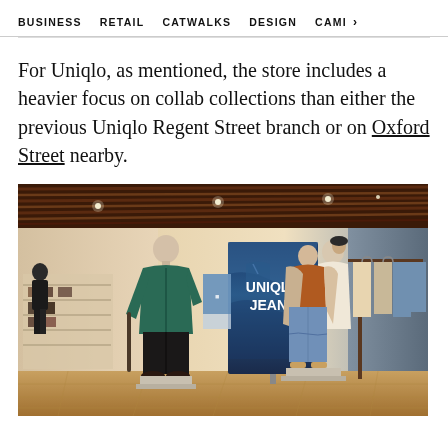BUSINESS   RETAIL   CATWALKS   DESIGN   CAMI >
For Uniqlo, as mentioned, the store includes a heavier focus on collab collections than either the previous Uniqlo Regent Street branch or on Oxford Street nearby.
[Figure (photo): Interior of a Uniqlo store showing mannequins dressed in Uniqlo apparel, a 'UNIQLO JEANS' banner in the center, wooden ceiling slats, light wood flooring, and clothing racks in the background.]